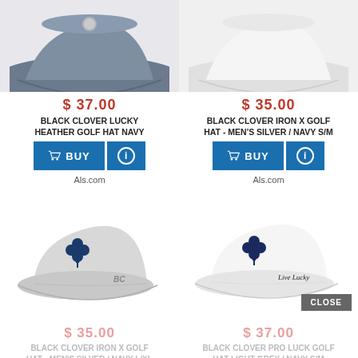[Figure (photo): Top-left: partial navy/grey golf hat (Black Clover style) on grey background]
[Figure (photo): Top-right: partial white golf hat on grey background]
$ 37.00
BLACK CLOVER LUCKY HEATHER GOLF HAT NAVY
$ 35.00
BLACK CLOVER IRON X GOLF HAT - MEN'S SILVER / NAVY S/M
Als.com
Als.com
[Figure (photo): White/light grey baseball cap with dark blue four-leaf clover emblem and 'BC' logo on side]
[Figure (photo): White baseball cap with dark blue four-leaf clover emblem and 'Live Lucky' script]
CLOSE
$ 35.00
BLACK CLOVER IRON X GOLF HAT - MEN'S SILVER / NAVY L/XL
$ 37.00
BLACK CLOVER PRO LUCK GOLF HAT LIGHT GREY / NAVY S/M